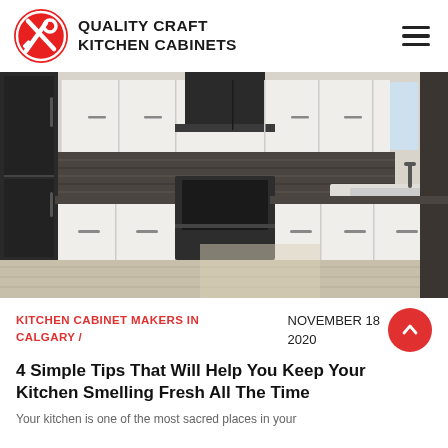QUALITY CRAFT KITCHEN CABINETS
[Figure (photo): Interior photo of a modern kitchen with white shaker cabinets, dark granite backsplash, black stainless steel appliances including a range and refrigerator, and a sink with dark faucet on grey hardwood flooring.]
KITCHEN CABINET MAKERS IN CALGARY /
NOVEMBER 18 2020
4 Simple Tips That Will Help You Keep Your Kitchen Smelling Fresh All The Time
Your kitchen is one of the most sacred places in your